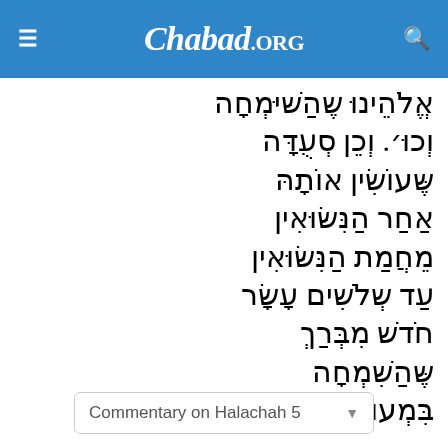Chabad.ORG
אֱלֹהֵינוּ שֶׁהַשִּׂמְחָה וְכוּ׳. וְכֵן סְעֻדָּה שֶׁעוֹשִׂין אוֹתָהּ אַחַר הַנִּשּׂוּאִין מֵחֲמַת הַנִּשּׂוּאִין עַד שְׁנֵים עָשָׂר חֹדֶשׁ מִבְּרַךְ שֶׁהַשִּׂמְחָה בִּמְעוֹנוֹ׃
Commentary on Halachah 5